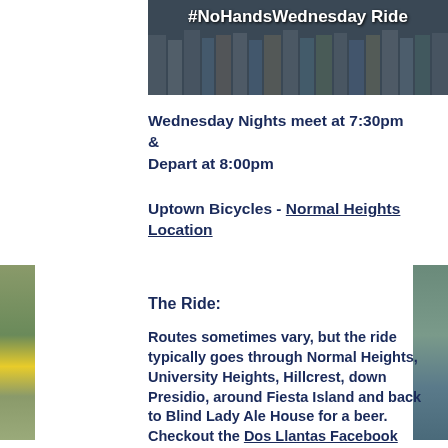[Figure (photo): Group of cyclists/people in cycling gear with text '#NoHandsWednesday Ride' overlaid in white bold text on a dark photo banner]
Wednesday Nights meet at 7:30pm & Depart at 8:00pm
Uptown Bicycles - Normal Heights Location
The Ride:
Routes sometimes vary, but the ride typically goes through Normal Heights, University Heights, Hillcrest, down Presidio, around Fiesta Island and back to Blind Lady Ale House for a beer.  Checkout the Dos Llantas Facebook pag for more information.